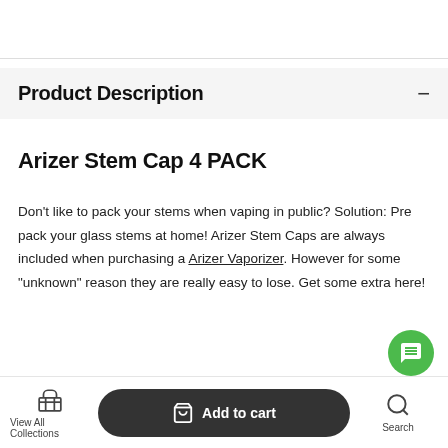Product Description
Arizer Stem Cap 4 PACK
Don't like to pack your stems when vaping in public? Solution: Pre pack your glass stems at home! Arizer Stem Caps are always included when purchasing a Arizer Vaporizer. However for some "unknown" reason they are really easy to lose. Get some extra here!
How to use Arizer Stem Caps?
View All Collections   Add to cart   Search